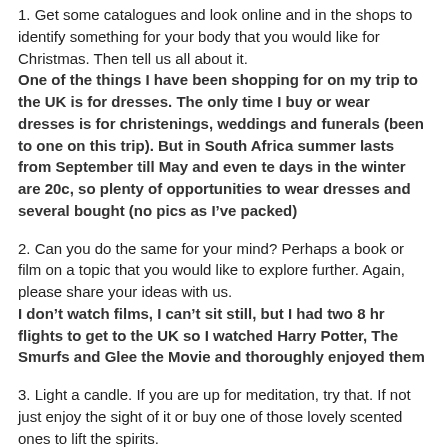1. Get some catalogues and look online and in the shops to identify something for your body that you would like for Christmas. Then tell us all about it.
One of the things I have been shopping for on my trip to the UK is for dresses. The only time I buy or wear dresses is for christenings, weddings and funerals (been to one on this trip). But in South Africa summer lasts from September till May and even te days in the winter are 20c, so plenty of opportunities to wear dresses and several bought (no pics as I’ve packed)
2. Can you do the same for your mind? Perhaps a book or film on a topic that you would like to explore further. Again, please share your ideas with us.
I don’t watch films, I can’t sit still, but I had two 8 hr flights to get to the UK so I watched Harry Potter, The Smurfs and Glee the Movie and thoroughly enjoyed them
3. Light a candle. If you are up for meditation, try that. If not just enjoy the sight of it or buy one of those lovely scented ones to lift the spirits.